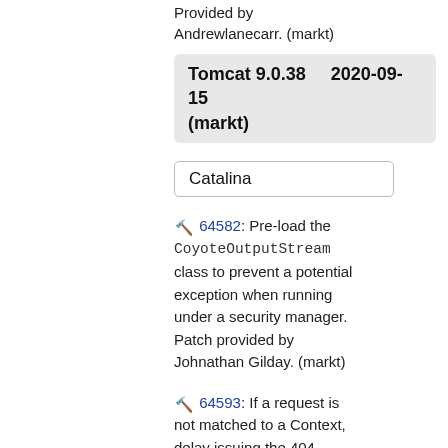Provided by Andrewlanecarr. (markt)
Tomcat 9.0.38 (markt)    2020-09-15
Catalina
🔨 64582: Pre-load the CoyoteOutputStream class to prevent a potential exception when running under a security manager. Patch provided by Johnathan Gilday. (markt)
🔨 64593: If a request is not matched to a Context, delay issuing the 404 response to give the rewrite valve, if configured, an opportunity to rewrite the request. (remm/markt)